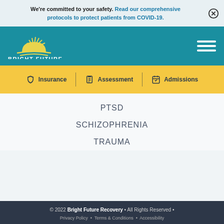We're committed to your safety. Read our comprehensive protocols to protect patients from COVID-19.
[Figure (logo): Bright Future Recovery logo with sun icon on teal background]
Insurance
Assessment
Admissions
PTSD
SCHIZOPHRENIA
TRAUMA
© 2022 Bright Future Recovery • All Rights Reserved •